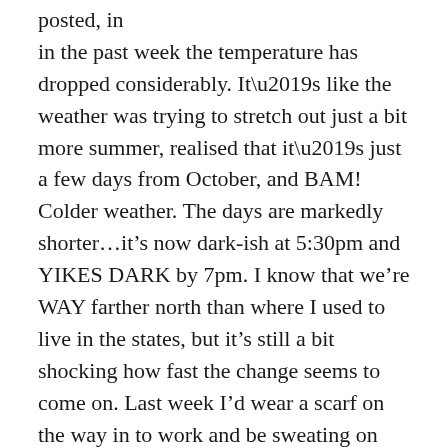posted, in the past week the temperature has dropped considerably. It’s like the weather was trying to stretch out just a bit more summer, realised that it’s just a few days from October, and BAM! Colder weather. The days are markedly shorter…it’s now dark-ish at 5:30pm and YIKES DARK by 7pm. I know that we’re WAY farther north than where I used to live in the states, but it’s still a bit shocking how fast the change seems to come on. Last week I’d wear a scarf on the way in to work and be sweating on the way back with my jacket on but not buttoned. Just yesterday my nails were turning blue because I’d forgotten my gloves.
With the cold weather I’m starting to notice the difference between houses with double glazing